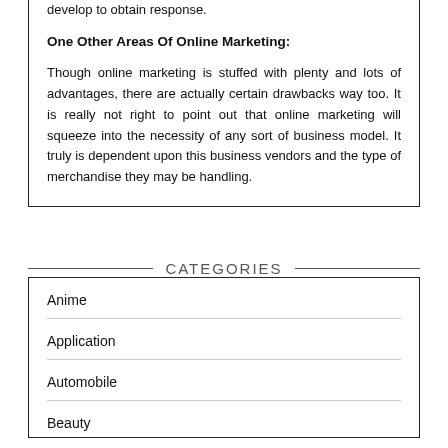develop to obtain response.
One Other Areas Of Online Marketing:
Though online marketing is stuffed with plenty and lots of advantages, there are actually certain drawbacks way too. It is really not right to point out that online marketing will squeeze into the necessity of any sort of business model. It truly is dependent upon this business vendors and the type of merchandise they may be handling.
CATEGORIES
Anime
Application
Automobile
Beauty